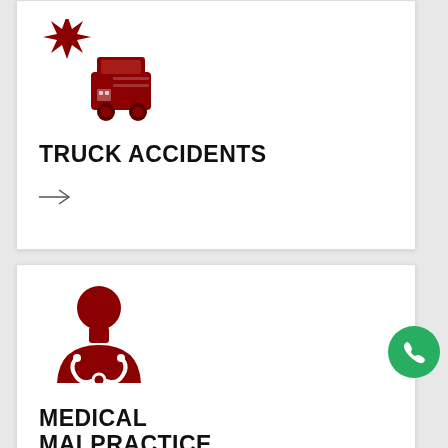[Figure (illustration): Dark red icon of a truck with a collision/impact starburst symbol to its upper left, indicating a truck accident]
TRUCK ACCIDENTS
[Figure (illustration): Right-pointing arrow (→)]
[Figure (illustration): Dark red icon of a doctor silhouette with a stethoscope, representing medical malpractice]
MEDICAL MALPRACTICE
[Figure (illustration): Green circular phone button (click-to-call button) positioned at the right edge of the page]
[Figure (illustration): Partial arrow visible at the bottom of the medical malpractice card]